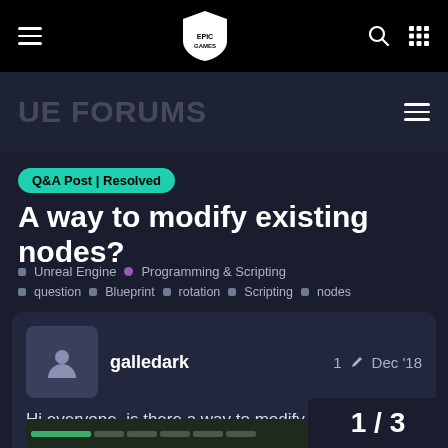Epic Games Forums navigation bar
UE Forums
Q&A Post | Resolved
A way to modify existing nodes?
Unreal Engine • Programming & Scripting
question  Blueprint  rotation  Scripting  nodes
galledark   1✏  Dec '18
Hi everyone, is there a way to modify an existing node in UE4 (without doing C++) ?
[Figure (screenshot): Screenshot of Unreal Engine 4 Blueprint editor interface]
1 / 3